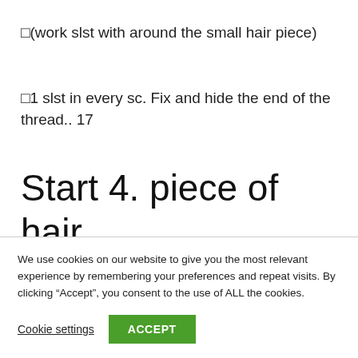□(work slst with around the small hair piece)
□1 slst in every sc. Fix and hide the end of the thread.. 17
Start 4. piece of hair
R1: Skip 1st from FLO of front row, 9 sc, turn 1 ch
We use cookies on our website to give you the most relevant experience by remembering your preferences and repeat visits. By clicking “Accept”, you consent to the use of ALL the cookies.
Cookie settings
ACCEPT